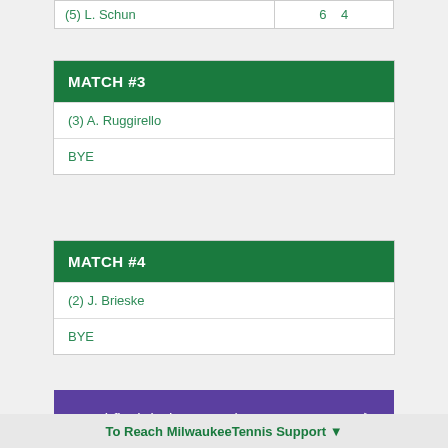| Player | Score |
| --- | --- |
| (5) L. Schun | 6   4 |
| Match | Player |
| --- | --- |
| MATCH #3 |  |
| (3) A. Ruggirello |  |
| BYE |  |
| Match | Player |
| --- | --- |
| MATCH #4 |  |
| (2) J. Brieske |  |
| BYE |  |
Semi-finals(Jul 03, 2022) >
To Reach MilwaukeeTennis Support ▼